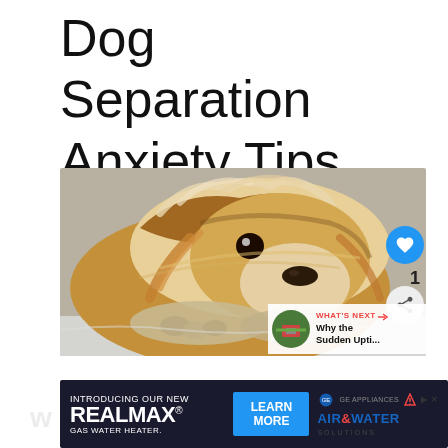Dog Separation Anxiety Tips
[Figure (photo): Close-up photo of a small fluffy dog (likely a Yorkie or Shih Tzu mix) lying down with its head resting on its paws, looking at the camera with soft sad eyes. The dog has golden-brown and white fur. Social media UI overlays visible: a blue heart button, share button, number '1', and a 'What's Next' preview showing 'Why the Sudden Upti...']
[Figure (other): Advertisement banner for GE Appliances RealMax Gas Water Heater with 'Learn More' button and Air & Water Solutions branding]